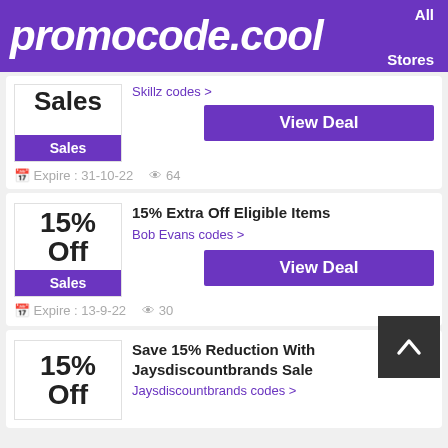promocode.cool
Sales - Skillz codes > - View Deal - Expire: 31-10-22 - 64 views
15% Extra Off Eligible Items - Bob Evans codes > - View Deal - Expire: 13-9-22 - 30 views
Save 15% Reduction With Jaysdiscountbrands Sale - Jaysdiscountbrands codes >